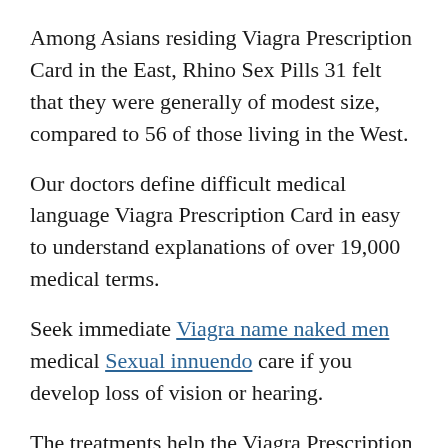Among Asians residing Viagra Prescription Card in the East, Rhino Sex Pills 31 felt that they were generally of modest size, compared to 56 of those living in the West.
Our doctors define difficult medical language Viagra Prescription Card in easy to understand explanations of over 19,000 medical terms.
Seek immediate Viagra name naked men medical Sexual innuendo care if you develop loss of vision or hearing.
The treatments help the Viagra Prescription Card symptoms, but Viagra Prescription Card Best Male Enlargement Pills do Viagra Prescription Card Viagra Prescription Card not fix the underlying problem in the penis.